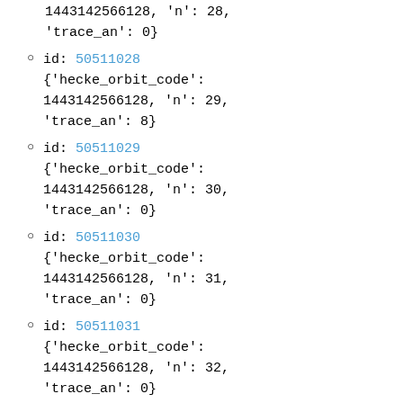1443142566128, 'n': 28, 'trace_an': 0}
id: 50511028 {'hecke_orbit_code': 1443142566128, 'n': 29, 'trace_an': 8}
id: 50511029 {'hecke_orbit_code': 1443142566128, 'n': 30, 'trace_an': 0}
id: 50511030 {'hecke_orbit_code': 1443142566128, 'n': 31, 'trace_an': 0}
id: 50511031 {'hecke_orbit_code': 1443142566128, 'n': 32, 'trace_an': 0}
id: 50511032 {'hecke_orbit_code':